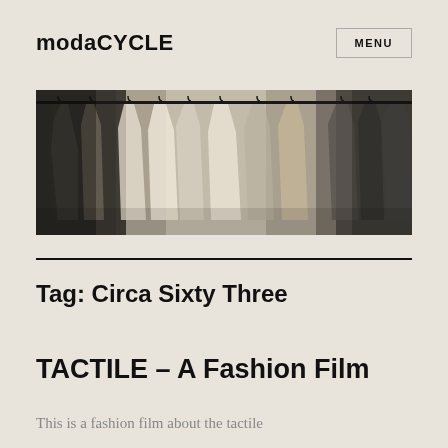modaCYCLE
MENU
[Figure (photo): A rack of hanging clothes in muted neutral tones — grey, beige, and white garments on a clothing rail, photographed in moody low contrast lighting]
Tag: Circa Sixty Three
TACTILE – A Fashion Film
This is a fashion film about the tactile